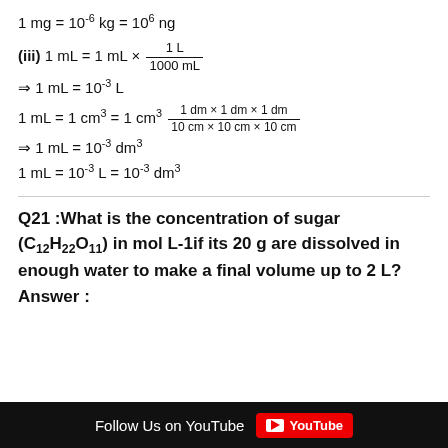Q21 :What is the concentration of sugar (C12H22O11) in mol L-1if its 20 g are dissolved in enough water to make a final volume up to 2 L?
Answer :
Follow Us on YouTube